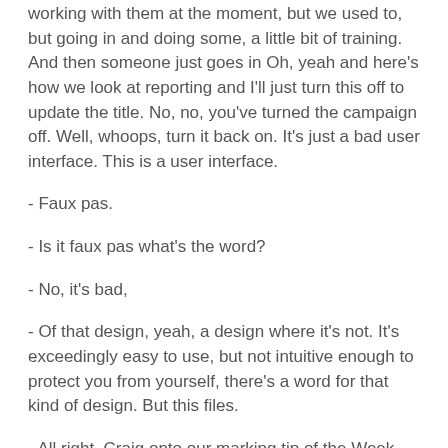working with them at the moment, but we used to, but going in and doing some, a little bit of training. And then someone just goes in Oh, yeah and here's how we look at reporting and I'll just turn this off to update the title. No, no, you've turned the campaign off. Well, whoops, turn it back on. It's just a bad user interface. This is a user interface.
- Faux pas.
- Is it faux pas what's the word?
- No, it's bad,
- Of that design, yeah, a design where it's not. It's exceedingly easy to use, but not intuitive enough to protect you from yourself, there's a word for that kind of design. But this files.
- All right, Craig onto our marking tip of the Week and this is Google My Business and the Google guarantee is coming. Haven't we spoken about this a few times?